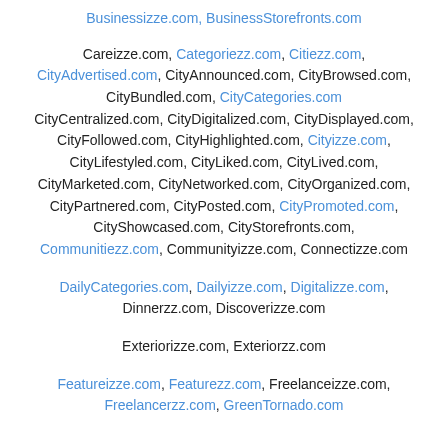Businessizze.com, BusinessStorefronts.com
Careizze.com, Categoriezz.com, Citiezz.com, CityAdvertised.com, CityAnnounced.com, CityBrowsed.com, CityBundled.com, CityCategories.com CityCentralized.com, CityDigitalized.com, CityDisplayed.com, CityFollowed.com, CityHighlighted.com, Cityizze.com, CityLifestyled.com, CityLiked.com, CityLived.com, CityMarketed.com, CityNetworked.com, CityOrganized.com, CityPartnered.com, CityPosted.com, CityPromoted.com, CityShowcased.com, CityStorefronts.com, Communitiezz.com, Communityizze.com, Connectizze.com
DailyCategories.com, Dailyizze.com, Digitalizze.com, Dinnerzz.com, Discoverizze.com
Exteriorizze.com, Exteriorzz.com
Featureizze.com, Featurezz.com, Freelanceizze.com, Freelancerzz.com, GreenTornado.com